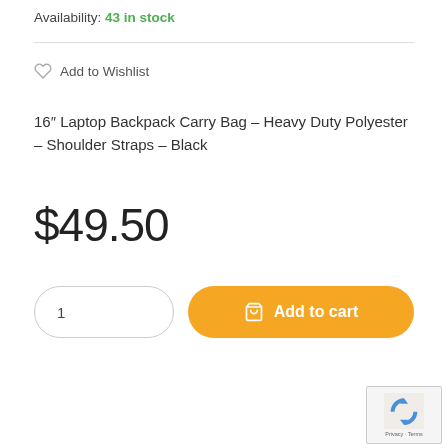Availability: 43 in stock
Add to Wishlist
16″ Laptop Backpack Carry Bag – Heavy Duty Polyester – Shoulder Straps – Black
$49.50
1
Add to cart
[Figure (logo): reCAPTCHA logo with Privacy and Terms links]